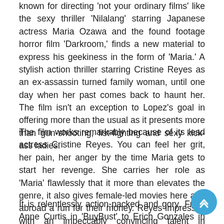known for directing 'not your ordinary films' like the sexy thriller 'Nilalang' starring Japanese actress Maria Ozawa and the found footage horror film 'Darkroom,' finds a new material to express his geekiness in the form of 'Maria.' A stylish action thriller starring Cristine Reyes as an ex-assassin turned family woman, until one day when her past comes back to haunt her. The film isn't an exception to Lopez's goal in offering more than the usual as it presents more than gun-shooting, fist-fighting and sexy kick-ass ladies.
The film works remarkably because of its lead actress Cristine Reyes. You can feel her grit, her pain, her anger by the time Maria gets to start her revenge. She carries her role as 'Maria' flawlessly that it more than elevates the genre, it also gives female-led movies here and abroad a run for their money. Reyes impresses with an impeccably convincing talent in throwing and receiving punches and in handling guns and knives. But aside from her, other notable actors in the film are Jennifer Lee, KC Montero, Ivan Padilla and Freddie Webb as the film's antagonists.
It is relentlessly action-packed and gory. From Anne Curtis in 'BuyBust' to Erich Gonzales in 'We Will Not Die Tonight,' 'Maria' is a more serious, more city action...